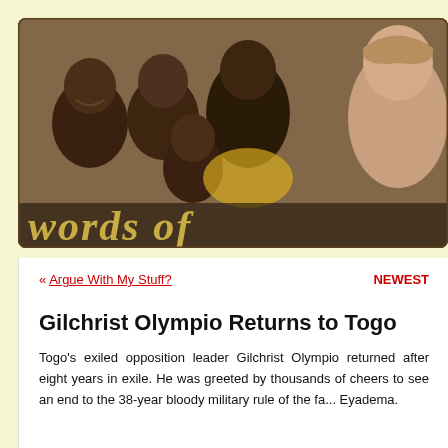[Figure (photo): Header banner photo showing African children and a Western man smiling at the camera, with overlay text 'words of' in decorative yellow lettering]
« Argue With My Stuff?
NEWEST
Gilchrist Olympio Returns to Togo
Togo's exiled opposition leader Gilchrist Olympio returned after eight years in exile. He was greeted by thousands of cheers to see an end to the 38-year bloody military rule of the fa... Eyadema.